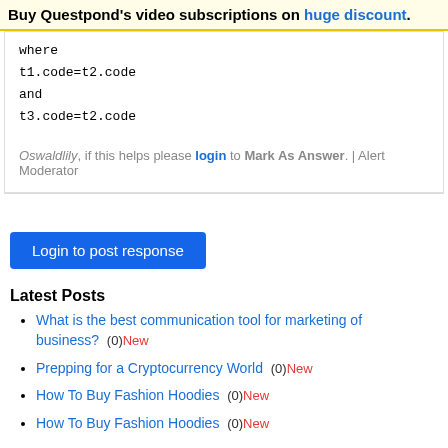Buy Questpond's video subscriptions on huge discount.
where
t1.code=t2.code
and
t3.code=t2.code
Oswaldlily, if this helps please login to Mark As Answer. | Alert Moderator
Login to post response
Latest Posts
What is the best communication tool for marketing of business?  (0)New
Prepping for a Cryptocurrency World  (0)New
How To Buy Fashion Hoodies  (0)New
How To Buy Fashion Hoodies  (0)New